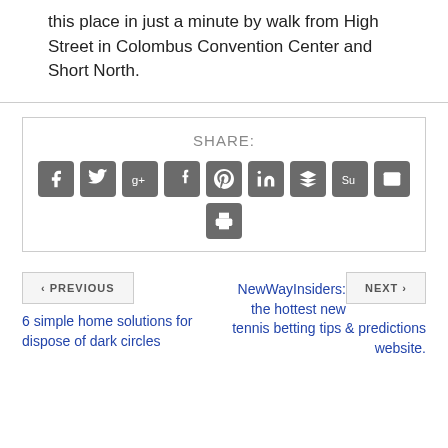this place in just a minute by walk from High Street in Colombus Convention Center and Short North.
SHARE:
[Figure (infographic): Social share buttons: Facebook, Twitter, Google+, Tumblr, Pinterest, LinkedIn, Buffer, StumbleUpon, Email, Print]
< PREVIOUS
NEXT >
6 simple home solutions for dispose of dark circles
NewWayInsiders: the hottest new tennis betting tips & predictions website.